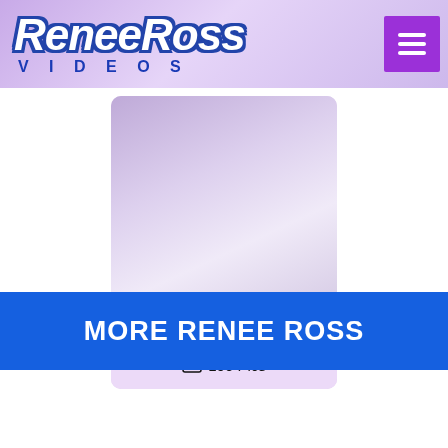Renee Ross Videos
[Figure (screenshot): Thumbnail card image with purple/lavender gradient placeholder]
A WINNER IN EV...
5.0/5 Stars
100 Pics
MORE RENEE ROSS